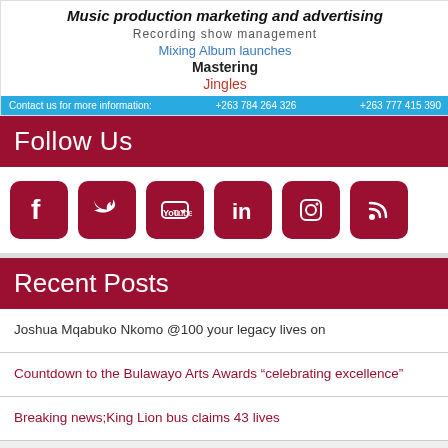[Figure (infographic): Music production marketing and advertising banner with services listed: Recording show management, Mixing Album launches, Mastering, Jingles. Contact info bar: +263 784 264 326 and +263 777 415 390. Decorative silhouettes of afro hairstyles on sides.]
Follow Us
[Figure (infographic): Six social media icons: Facebook, Twitter, YouTube, LinkedIn, Instagram, RSS Feed — all in dark red/maroon rounded square style]
Recent Posts
Joshua Mqabuko Nkomo @100 your legacy lives on
Countdown to the Bulawayo Arts Awards “celebrating excellence”
Breaking news;King Lion bus claims 43 lives